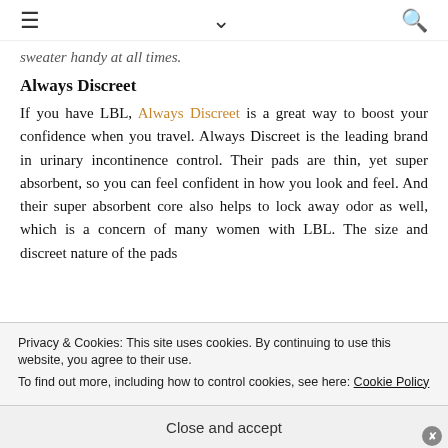≡ ∨ 🔍
sweater handy at all times.
Always Discreet
If you have LBL, Always Discreet is a great way to boost your confidence when you travel. Always Discreet is the leading brand in urinary incontinence control. Their pads are thin, yet super absorbent, so you can feel confident in how you look and feel. And their super absorbent core also helps to lock away odor as well, which is a concern of many women with LBL. The size and discreet nature of the pads
Privacy & Cookies: This site uses cookies. By continuing to use this website, you agree to their use.
To find out more, including how to control cookies, see here: Cookie Policy
Close and accept